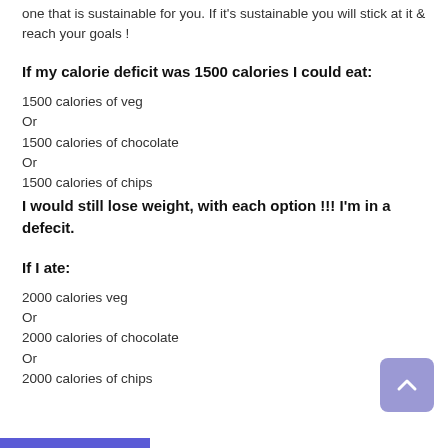one that is sustainable for you. If it's sustainable you will stick at it & reach your goals !
If my calorie deficit was 1500 calories I could eat:
1500 calories of veg
Or
1500 calories of chocolate
Or
1500 calories of chips
I would still lose weight, with each option !!! I'm in a defecit.
If I ate:
2000 calories veg
Or
2000 calories of chocolate
Or
2000 calories of chips